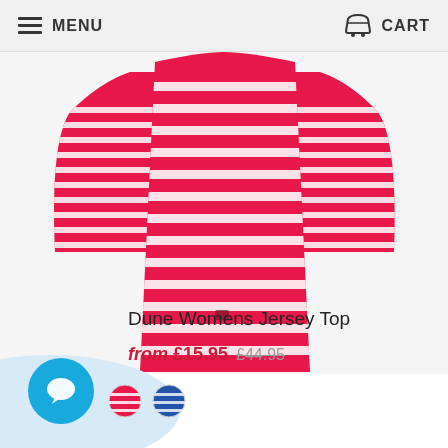MENU   CART
[Figure (photo): Red and white horizontally striped long-sleeve jersey top shown from the front, displayed against a white background.]
Dune Womens Jersey Top
from £15.95  £44.95